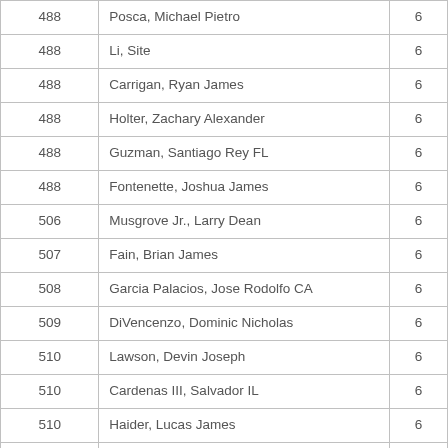| 488 | Posca, Michael Pietro | 6 |
| 488 | Li, Site | 6 |
| 488 | Carrigan, Ryan James | 6 |
| 488 | Holter, Zachary Alexander | 6 |
| 488 | Guzman, Santiago Rey FL | 6 |
| 488 | Fontenette, Joshua James | 6 |
| 506 | Musgrove Jr., Larry Dean | 6 |
| 507 | Fain, Brian James | 6 |
| 508 | Garcia Palacios, Jose Rodolfo CA | 6 |
| 509 | DiVencenzo, Dominic Nicholas | 6 |
| 510 | Lawson, Devin Joseph | 6 |
| 510 | Cardenas III, Salvador IL | 6 |
| 510 | Haider, Lucas James | 6 |
| 510 | Stone, Brian William | 6 |
| 510 | Hahn, Darian Joshua Riley Wolver | 6 |
| 510 | Moore, Hunter Jacob | 6 |
| 510 | Creamer, Robert Bernard | 6 |
| 510 | Dong, Jason OH | 6 |
| 510 | Paz Admade, Antonio CA | 6 |